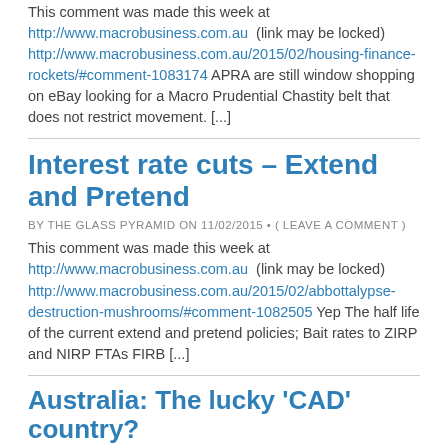This comment was made this week at http://www.macrobusiness.com.au (link may be locked) http://www.macrobusiness.com.au/2015/02/housing-finance-rockets/#comment-1083174 APRA are still window shopping on eBay looking for a Macro Prudential Chastity belt that does not restrict movement. [...]
Interest rate cuts – Extend and Pretend
BY THE GLASS PYRAMID ON 11/02/2015 • ( LEAVE A COMMENT )
This comment was made this week at http://www.macrobusiness.com.au (link may be locked) http://www.macrobusiness.com.au/2015/02/abbottalypse-destruction-mushrooms/#comment-1082505 Yep The half life of the current extend and pretend policies; Bait rates to ZIRP and NIRP FTAs FIRB [...]
Australia: The lucky 'CAD' country?
BY THE GLASS PYRAMID ON 30/01/2015 • ( LEAVE A COMMENT )
To read the original version of this comment in the original context